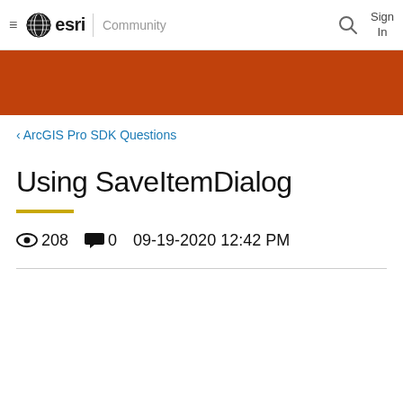esri | Community  Sign In
[Figure (other): Orange decorative banner]
‹ ArcGIS Pro SDK Questions
Using SaveItemDialog
👁 208  💬 0   09-19-2020 12:42 PM